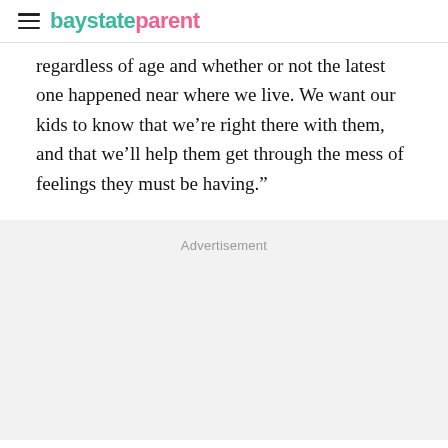baystateparent
regardless of age and whether or not the latest one happened near where we live. We want our kids to know that we’re right there with them, and that we’ll help them get through the mess of feelings they must be having.”
Advertisement